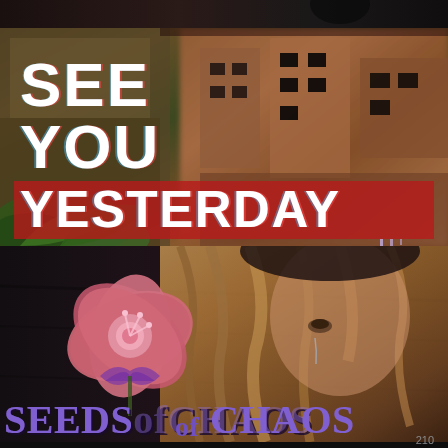[Figure (illustration): Movie/game thumbnail for 'See You Yesterday' showing blurred urban/city background with glitch-effect text overlay reading SEE YOU YESTERDAY in white bold letters, red highlight on YESTERDAY, green leaves in bottom-left corner]
[Figure (illustration): Game thumbnail for 'Seeds of Chaos' showing dark background with anime-style girl face on right side and large pink/red hibiscus flower on left, purple stylized text 'SEEDS of CHAOS' at bottom]
210